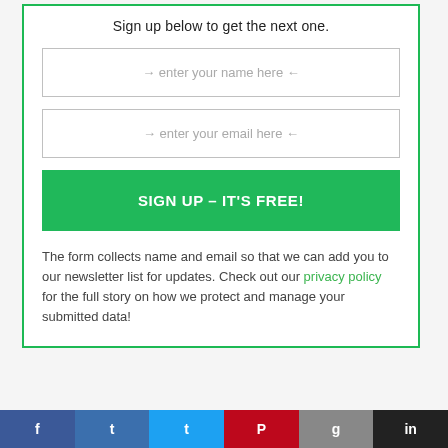Sign up below to get the next one.
→ enter your name here ←
→ enter your email here ←
SIGN UP – IT'S FREE!
The form collects name and email so that we can add you to our newsletter list for updates. Check out our privacy policy for the full story on how we protect and manage your submitted data!